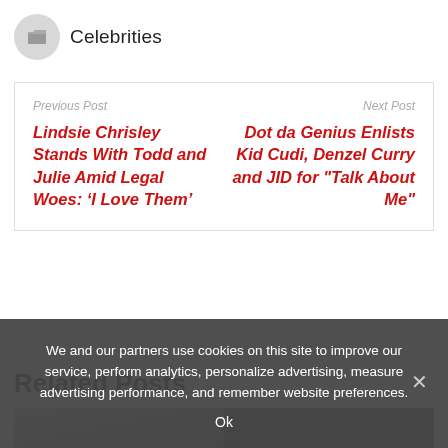Celebrities
Previous Post
Lindsie Chrisley Stands With Todd and Julie Amid Legal Woes: ‘I Love Them’

Next Post
Dot da Genius Enlists Kid Cudi, Denzel Curry and JID for "Talk About Me"
Related Posts
[Figure (photo): Partial image strip showing two photos side by side, partially visible at bottom of page]
We and our partners use cookies on this site to improve our service, perform analytics, personalize advertising, measure advertising performance, and remember website preferences.
Ok